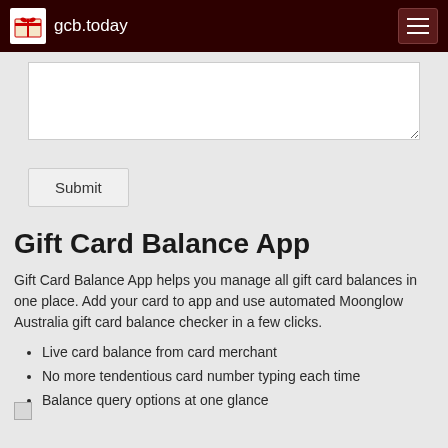gcb.today
[Figure (screenshot): Text area input box (empty)]
Submit
Gift Card Balance App
Gift Card Balance App helps you manage all gift card balances in one place. Add your card to app and use automated Moonglow Australia gift card balance checker in a few clicks.
Live card balance from card merchant
No more tendentious card number typing each time
Balance query options at one glance